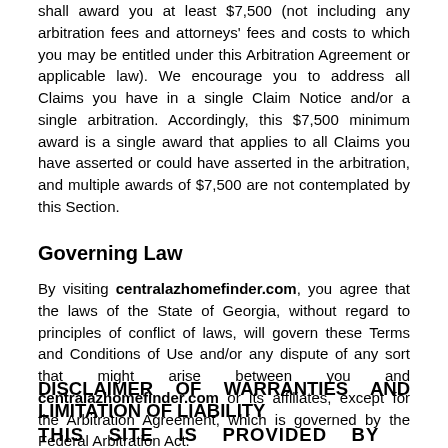shall award you at least $7,500 (not including any arbitration fees and attorneys' fees and costs to which you may be entitled under this Arbitration Agreement or applicable law). We encourage you to address all Claims you have in a single Claim Notice and/or a single arbitration. Accordingly, this $7,500 minimum award is a single award that applies to all Claims you have asserted or could have asserted in the arbitration, and multiple awards of $7,500 are not contemplated by this Section.
Governing Law
By visiting centralazhomefinder.com, you agree that the laws of the State of Georgia, without regard to principles of conflict of laws, will govern these Terms and Conditions of Use and/or any dispute of any sort that might arise between you and centralazhomefinder.com or its affiliates, except for the Arbitration Agreement, which is governed by the Federal Arbitration Act.
DISCLAIMER OF WARRANTIES AND LIMITATION OF LIABILITY
THIS SITE IS PROVIDED BY